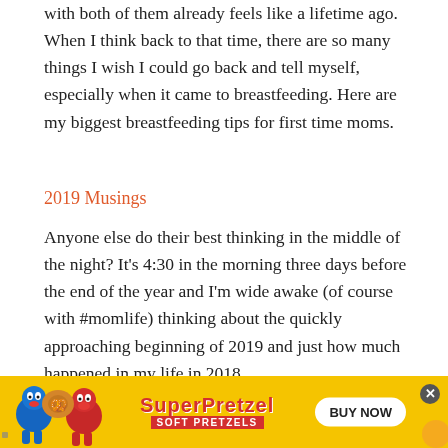with both of them already feels like a lifetime ago. When I think back to that time, there are so many things I wish I could go back and tell myself, especially when it came to breastfeeding. Here are my biggest breastfeeding tips for first time moms.
2019 Musings
Anyone else do their best thinking in the middle of the night? It’s 4:30 in the morning three days before the end of the year and I’m wide awake (of course with #momlife) thinking about the quickly approaching beginning of 2019 and just how much happened in my life in 2018.
[Figure (photo): A partial photo of a pregnant woman's belly in a dark bikini bottom, cropped at the sides, shown against a light background.]
[Figure (infographic): SuperPretzel Soft Pretzels advertisement banner with yellow background, cartoon pretzel characters, logo, and BUY NOW button.]